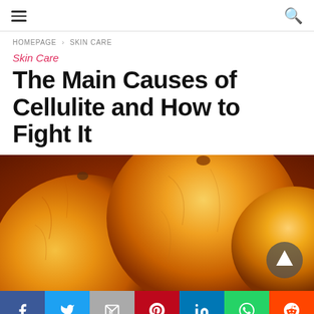Navigation bar with hamburger menu and search icon
HOMEPAGE > SKIN CARE
Skin Care
The Main Causes of Cellulite and How to Fight It
[Figure (photo): Close-up photograph of oranges, their textured peel visible, suggesting the appearance of cellulite skin]
Social share bar: Facebook, Twitter, Google Mail, Pinterest, LinkedIn, WhatsApp, Reddit